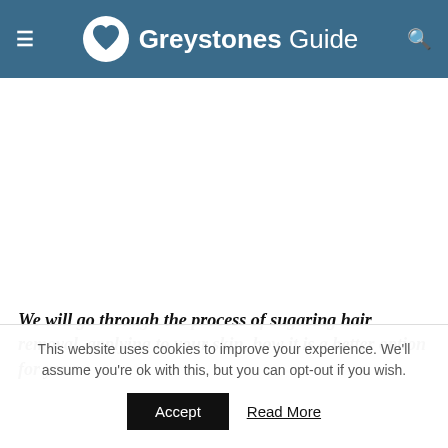Greystones Guide
We will go through the process of sugaring hair removal, applying to your skin, how it is a better option for your skin, and to the design and to stay and f
This website uses cookies to improve your experience. We'll assume you're ok with this, but you can opt-out if you wish. Accept Read More